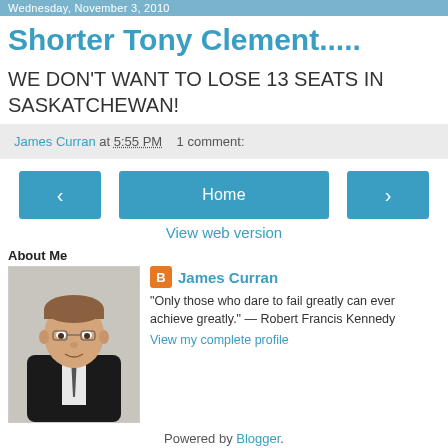Wednesday, November 3, 2010
Shorter Tony Clement.....
WE DON'T WANT TO LOSE 13 SEATS IN SASKATCHEWAN!
James Curran at 5:55 PM   1 comment:
Home (navigation buttons with back and forward arrows)
View web version
About Me
[Figure (photo): Profile photo of James Curran, a man in a dark suit]
James Curran
"Only those who dare to fail greatly can ever achieve greatly." — Robert Francis Kennedy
View my complete profile
Powered by Blogger.